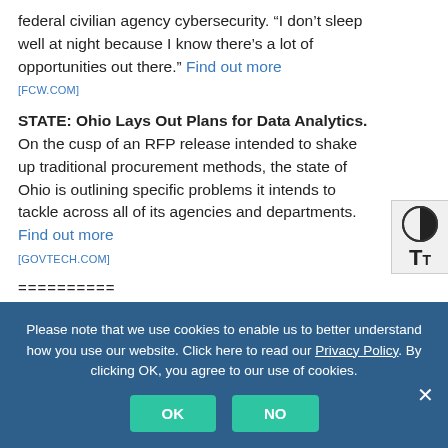federal civilian agency cybersecurity. “I don’t sleep well at night because I know there’s a lot of opportunities out there.” Find out more
[FCW.COM]
STATE: Ohio Lays Out Plans for Data Analytics. On the cusp of an RFP release intended to shake up traditional procurement methods, the state of Ohio is outlining specific problems it intends to tackle across all of its agencies and departments. Find out more
[GOVTECH.COM]
==========
NOW ON SLIDESHARE
Please note that we use cookies to enable us to better understand how you use our website. Click here to read our Privacy Policy. By clicking OK, you agree to our use of cookies.